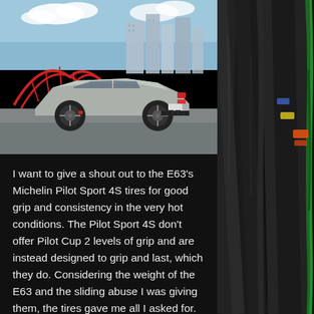[Figure (photo): Silver Mercedes-AMG E63 sedan photographed from the rear three-quarter angle in an urban setting with skyscrapers and a red steel bridge sculpture in the background. The car has dark alloy wheels and red brake calipers.]
I want to give a shout out to the E63's Michelin Pilot Sport 4S tires for good grip and consistency in the very hot conditions. The Pilot Sport 4S don't offer Pilot Cup 2 levels of grip and are instead designed to grip and last, which they do. Considering the weight of the E63 and the sliding abuse I was giving them, the tires gave me all I asked for. Tire sizes for the sedan and wagon both are 245/35R20 up front and 295/30R20 at
[Figure (photo): Close-up photo of racing harness straps and cables in dark environment with colorful tags visible — green, yellow, and orange tags on straps/cables against dark background.]